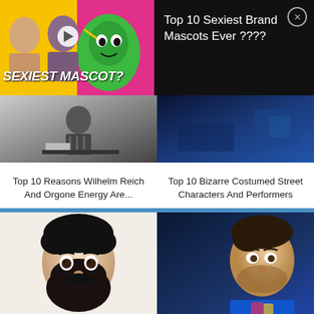[Figure (screenshot): Top banner ad thumbnail showing 'SEXIEST MASCOT?' with two people reacting and a green M&M character on colored background]
Top 10 Sexiest Brand Mascots Ever ????
[Figure (photo): Black and white photo of a puppet or costumed figure at a desk]
Top 10 Reasons Wilhelm Reich And Orgone Energy Are...
[Figure (photo): Dark blue toned photo, appears to be outdoors at night or low light]
Top 10 Bizarre Costumed Street Characters And Performers
[Figure (photo): Close-up photo of a man with a large dark beard looking surprised, light background]
[Figure (photo): Photo of a man with stubble wearing a blue shirt and colorful apron, looking to the side]